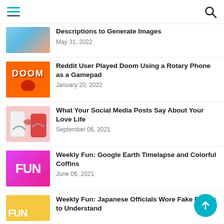Navigation header with hamburger menu and search icon
Descriptions to Generate Images
May 31, 2022
Reddit User Played Doom Using a Rotary Phone as a Gamepad
January 20, 2022
What Your Social Media Posts Say About Your Love Life
September 06, 2021
Weekly Fun: Google Earth Timelapse and Colorful Coffins
June 06, 2021
Weekly Fun: Japanese Officials Wore Fake Bellies to Understand